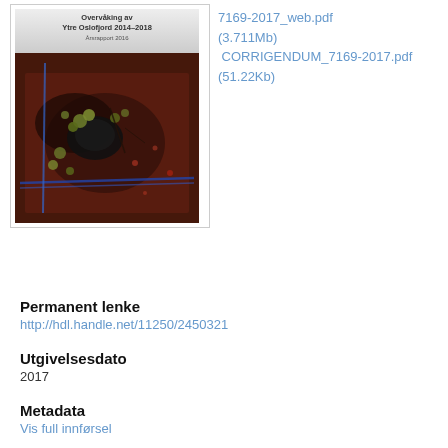[Figure (photo): Thumbnail of report cover 'Overvåking av Ytre Oslofjord 2014-2018' with a photograph of marine organisms (barnacles/mussels) on a substrate in a tray, taken from a scientific monitoring report.]
7169-2017_web.pdf (3.711Mb)
 CORRIGENDUM_7169-2017.pdf (51.22Kb)
Permanent lenke
http://hdl.handle.net/11250/2450321
Utgivelsesdato
2017
Metadata
Vis full innførsel